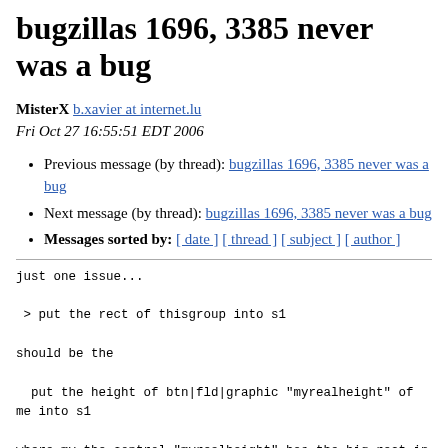bugzillas 1696, 3385 never was a bug
MisterX b.xavier at internet.lu
Fri Oct 27 16:55:51 EDT 2006
Previous message (by thread): bugzillas 1696, 3385 never was a bug
Next message (by thread): bugzillas 1696, 3385 never was a bug
Messages sorted by: [ date ] [ thread ] [ subject ] [ author ]
just one issue...

 > put the rect of thisgroup into s1

should be the

  put the height of btn|fld|graphic "myrealheight" of
me into s1

where my the control "myrealheight" has the big rect in
the group's
smaller visible rect.